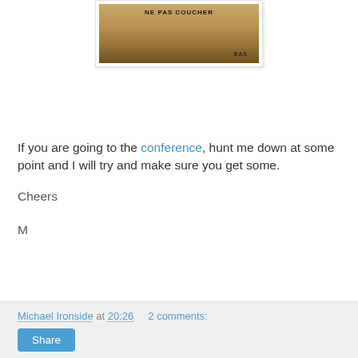[Figure (photo): Photo of a cardboard box with French text 'NE PAS COUCHER' and 'BAS' visible]
If you are going to the conference, hunt me down at some point and I will try and make sure you get some.
Cheers
M
Michael Ironside at 20:26   2 comments:   Share